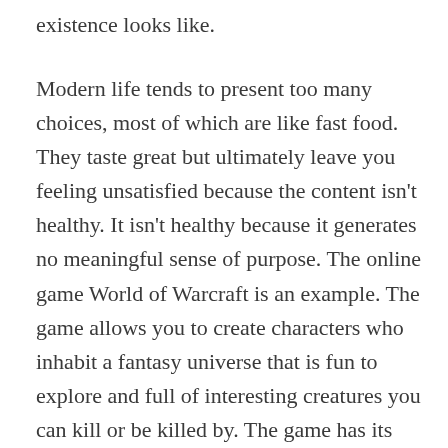existence looks like.
Modern life tends to present too many choices, most of which are like fast food. They taste great but ultimately leave you feeling unsatisfied because the content isn't healthy. It isn't healthy because it generates no meaningful sense of purpose. The online game World of Warcraft is an example. The game allows you to create characters who inhabit a fantasy universe that is fun to explore and full of interesting creatures you can kill or be killed by. The game has its own economy and system for ranking players. Creating an avatar is fun. Entering a massive world full of other people who are exploring it along with you using their own system is fun.